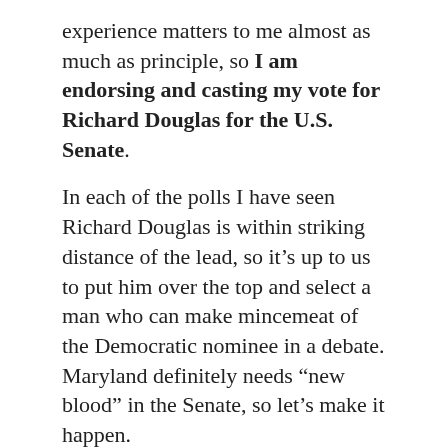experience matters to me almost as much as principle, so I am endorsing and casting my vote for Richard Douglas for the U.S. Senate.
In each of the polls I have seen Richard Douglas is within striking distance of the lead, so it’s up to us to put him over the top and select a man who can make mincemeat of the Democratic nominee in a debate. Maryland definitely needs “new blood” in the Senate, so let’s make it happen.
Michael / April 17, 2016 / All politics is local, Campaign 2016, Delmarva items, Maryland Politics, National politics, Personal stuff, Politics, Senator Watch, State of Conservatism / Bladensburg Peace Cross, Campaign 2016, Chrys Kefalas, Dave Wallace, Donald Trump, Joe